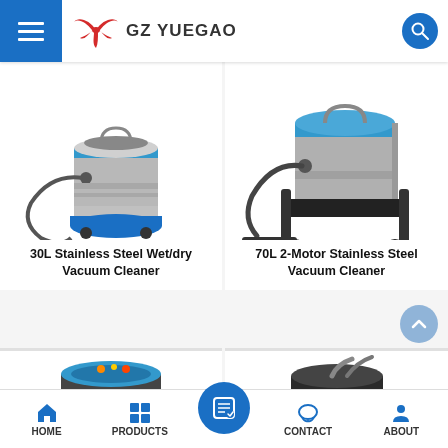GZ YUEGAO
[Figure (photo): 30L stainless steel wet/dry vacuum cleaner with blue base and flexible hose]
30L Stainless Steel Wet/dry Vacuum Cleaner
[Figure (photo): 70L 2-motor stainless steel vacuum cleaner on wheels with black hose]
70L 2-Motor Stainless Steel Vacuum Cleaner
[Figure (photo): Partially visible vacuum cleaner, dark colored with blue accents]
[Figure (photo): Partially visible vacuum cleaner, dark colored with yellow accents]
HOME  PRODUCTS  CONTACT  ABOUT